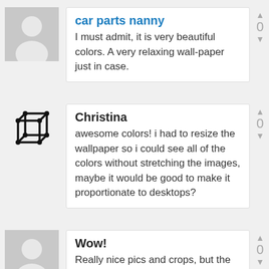[Figure (illustration): Default user avatar: gray silhouette of person on gray background]
car parts nanny
I must admit, it is very beautiful colors. A very relaxing wall-paper just in case.
[Figure (illustration): 3D wireframe cube icon in black]
Christina
awesome colors! i had to resize the wallpaper so i could see all of the colors without stretching the images, maybe it would be good to make it proportionate to desktops?
[Figure (illustration): Default user avatar: gray silhouette of person on gray background]
Wow!
Really nice pics and crops, but the